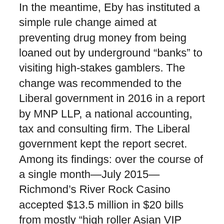In the meantime, Eby has instituted a simple rule change aimed at preventing drug money from being loaned out by underground “banks” to visiting high-stakes gamblers. The change was recommended to the Liberal government in 2016 in a report by MNP LLP, a national accounting, tax and consulting firm. The Liberal government kept the report secret. Among its findings: over the course of a single month—July 2015—Richmond’s River Rock Casino accepted $13.5 million in $20 bills from mostly “high roller Asian VIP clients,” in transactions that sometimes exceeded $500,000.
The MNP LLP rule change that the Liberals ignored, but which Eby has put in place: You will no longer be able to drive your Lamborghini from your $10 million Point Grey mansion across the Oak Street Bridge to Richmond, stroll into the government-licensed River RockCasino and buy